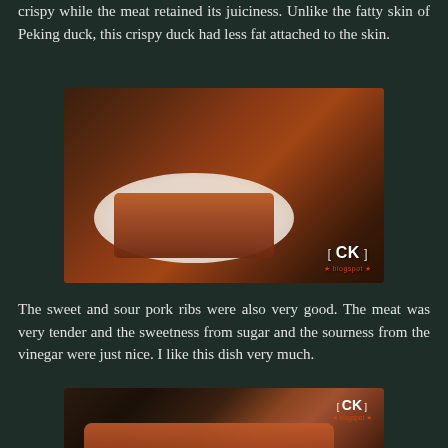crispy while the meat retained its juiciness. Unlike the fatty skin of Peking duck, this crispy duck had less fat attached to the skin.
[Figure (photo): A plate of crispy duck sliced and arranged on a white oval platter, with side dishes including a bowl of vegetables and a steamer basket, on a dark wooden table. CK watermark in bottom right.]
The sweet and sour pork ribs were also very good. The meat was very tender and the sweetness from sugar and the sourness from the vinegar were just nice. I like this dish very much.
[Figure (photo): A close-up photo of sweet and sour pork ribs, showing glazed meat pieces on a white plate with a spoon visible. CK watermark in top right.]